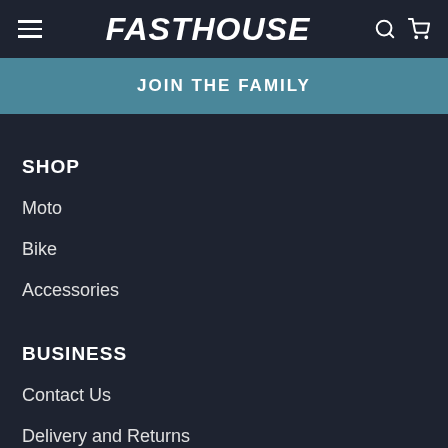FastHouse navigation header with hamburger menu, logo, search and cart icons
JOIN THE FAMILY
SHOP
Moto
Bike
Accessories
BUSINESS
Contact Us
Delivery and Returns
FAQs